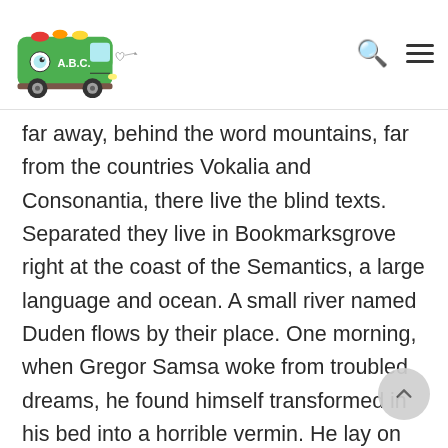[Figure (logo): Green VW bus cartoon logo with 'A.B.C.' text and heart/arrow doodle beside it]
far away, behind the word mountains, far from the countries Vokalia and Consonantia, there live the blind texts. Separated they live in Bookmarksgrove right at the coast of the Semantics, a large language and ocean. A small river named Duden flows by their place. One morning, when Gregor Samsa woke from troubled dreams, he found himself transformed in his bed into a horrible vermin. He lay on his armour-like back, and if he lifted his head a little he could see his brown belly, slightly domed and divided by arches into stiff sections. The bedding was hardly able to cover it and seemed ready to slide.